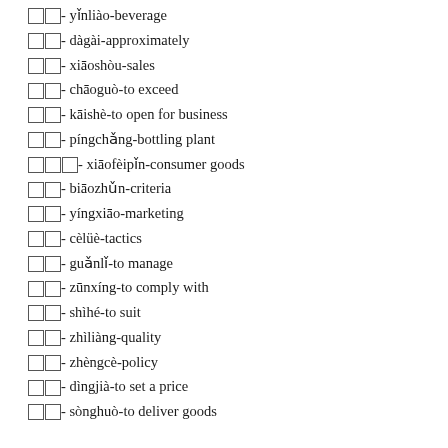□□- yǐnliào-beverage
□□- dàgài-approximately
□□- xiāoshòu-sales
□□- chāoguò-to exceed
□□- kāishè-to open for business
□□- píngchǎng-bottling plant
□□□- xiāofèipǐn-consumer goods
□□- biāozhǔn-criteria
□□- yíngxiāo-marketing
□□- cèlüè-tactics
□□- guǎnlǐ-to manage
□□- zūnxíng-to comply with
□□- shìhé-to suit
□□- zhìliàng-quality
□□- zhèngcè-policy
□□- dìngjià-to set a price
□□- sònghuò-to deliver goods